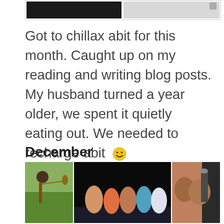[Figure (photo): Two photos side by side at top of page - left is a dark portrait photo, right is a lighter photo]
Got to chillax abit for this month. Caught up on my reading and writing blog posts. My husband turned a year older, we spent it quietly eating out. We needed to recharge abit 🙂
December
[Figure (photo): Collage of December photos: archery photo outdoors, group of friends posing at night, two women on airplane, and bottom row of smaller photos including Christmas hats selfie]